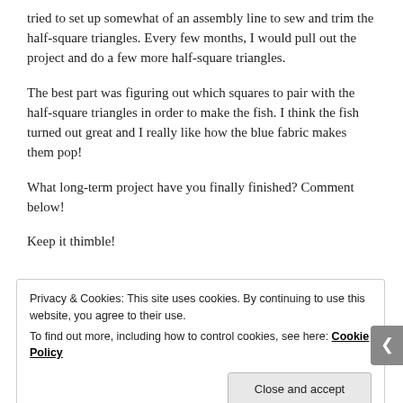tried to set up somewhat of an assembly line to sew and trim the half-square triangles.  Every few months, I would pull out the project and do a few more half-square triangles.
The best part was figuring out which squares to pair with the half-square triangles in order to make the fish.  I think the fish turned out great and I really like how the blue fabric makes them pop!
What long-term project have you finally finished?  Comment below!
Keep it thimble!
Privacy & Cookies: This site uses cookies. By continuing to use this website, you agree to their use.
To find out more, including how to control cookies, see here: Cookie Policy
Close and accept